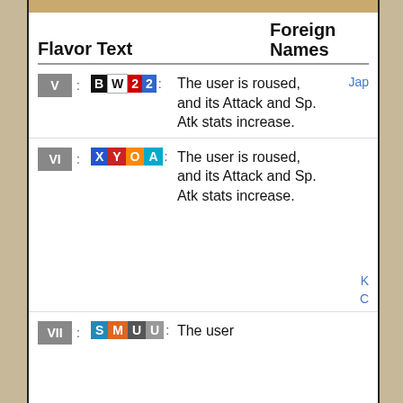Flavor Text
Foreign Names
| Version | Games | Flavor Text | Foreign Names |
| --- | --- | --- | --- |
| V | BW22 | The user is roused, and its Attack and Sp. Atk stats increase. | Jap |
| VI | XYOA | The user is roused, and its Attack and Sp. Atk stats increase. | K
C |
| VII | SMUU | The user |  |